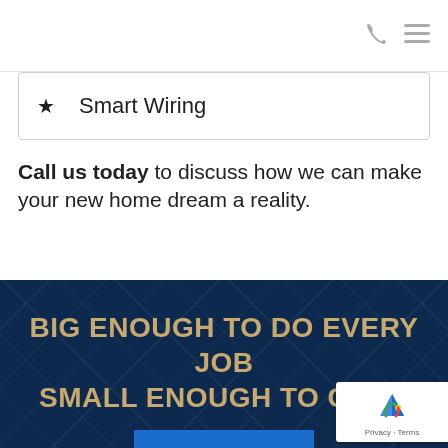★  Smart Wiring
Call us today to discuss how we can make your new home dream a reality.
BIG ENOUGH TO DO EVERY JOB SMALL ENOUGH TO CARE